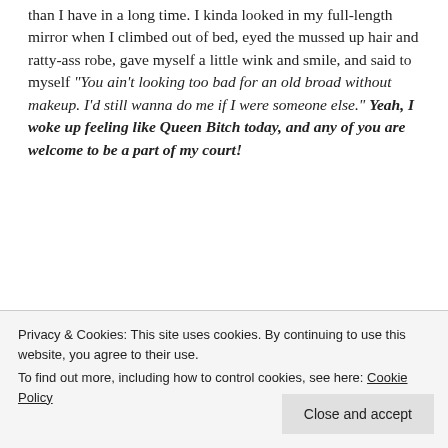than I have in a long time. I kinda looked in my full-length mirror when I climbed out of bed, eyed the mussed up hair and ratty-ass robe, gave myself a little wink and smile, and said to myself "You ain't looking too bad for an old broad without makeup. I'd still wanna do me if I were someone else." Yeah, I woke up feeling like Queen Bitch today, and any of you are welcome to be a part of my court!
[Figure (other): Red advertisement banner with white serif text reading 'the web – ours, and everyone else's.' and a black 'Start reading' button]
Privacy & Cookies: This site uses cookies. By continuing to use this website, you agree to their use. To find out more, including how to control cookies, see here: Cookie Policy